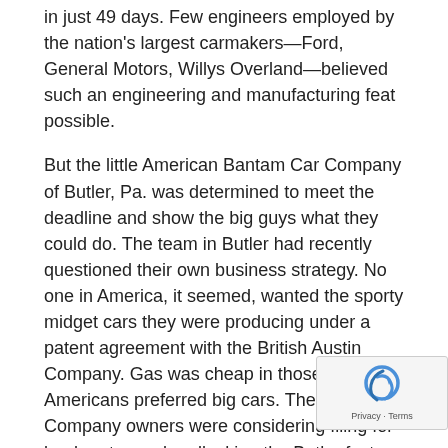in just 49 days. Few engineers employed by the nation's largest carmakers—Ford, General Motors, Willys Overland—believed such an engineering and manufacturing feat possible.
But the little American Bantam Car Company of Butler, Pa. was determined to meet the deadline and show the big guys what they could do. The team in Butler had recently questioned their own business strategy. No one in America, it seemed, wanted the sporty midget cars they were producing under a patent agreement with the British Austin Company. Gas was cheap in those days and Americans preferred big cars. The Bantam Company owners were considering filing for bankruptcy and padlocking the Butler factory doors. But then the RFP arrived.
The story goes that the engineers stayed up all night at a diner and sketched the design for the jeep. With D engine designer Karl Probst, the team worked day night to produce the little car within the 49-day limit.